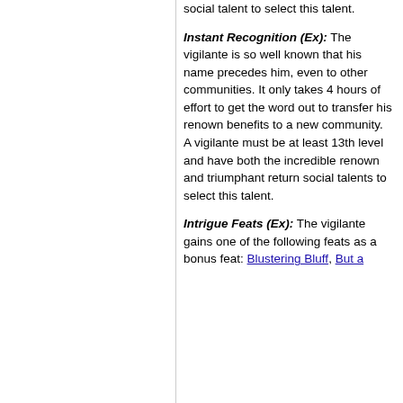social talent to select this talent.
Instant Recognition (Ex): The vigilante is so well known that his name precedes him, even to other communities. It only takes 4 hours of effort to get the word out to transfer his renown benefits to a new community. A vigilante must be at least 13th level and have both the incredible renown and triumphant return social talents to select this talent.
Intrigue Feats (Ex): The vigilante gains one of the following feats as a bonus feat: Blustering Bluff, But a